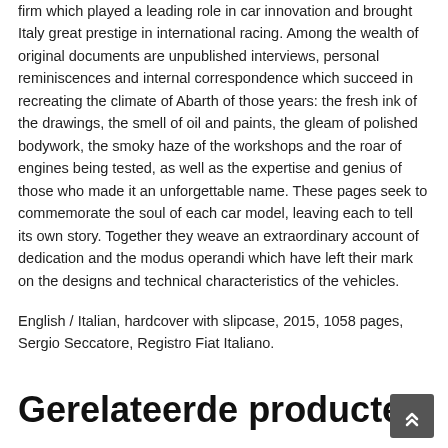firm which played a leading role in car innovation and brought Italy great prestige in international racing. Among the wealth of original documents are unpublished interviews, personal reminiscences and internal correspondence which succeed in recreating the climate of Abarth of those years: the fresh ink of the drawings, the smell of oil and paints, the gleam of polished bodywork, the smoky haze of the workshops and the roar of engines being tested, as well as the expertise and genius of those who made it an unforgettable name. These pages seek to commemorate the soul of each car model, leaving each to tell its own story. Together they weave an extraordinary account of dedication and the modus operandi which have left their mark on the designs and technical characteristics of the vehicles.
English / Italian, hardcover with slipcase, 2015, 1058 pages, Sergio Seccatore, Registro Fiat Italiano.
Gerelateerde producten